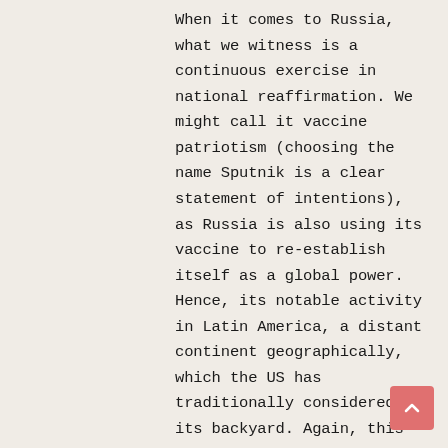When it comes to Russia, what we witness is a continuous exercise in national reaffirmation. We might call it vaccine patriotism (choosing the name Sputnik is a clear statement of intentions), as Russia is also using its vaccine to re-establish itself as a global power. Hence, its notable activity in Latin America, a distant continent geographically, which the US has traditionally considered its backyard. Again, this is the consolidation of a trend that existed prior to the pandemic, as Russia had already become a decisive supporter of Nicolás Maduro in Venezuela. Its efforts to divide European partners also look familiar. Where it has previously used gas, today it deploys